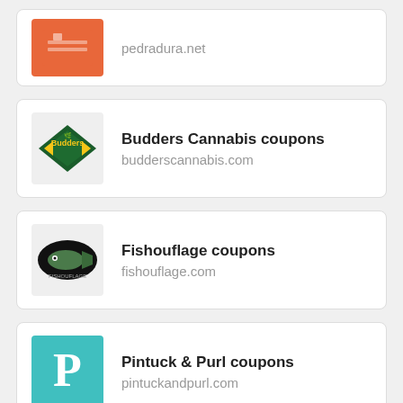[Figure (screenshot): Partial listing card showing pedradura.net with orange logo at top]
[Figure (screenshot): Budders Cannabis coupons listing card with green diamond Budders logo and URL budderscannabis.com]
[Figure (screenshot): Fishouflage coupons listing card with black oval fish logo and URL fishouflage.com]
[Figure (screenshot): Pintuck & Purl coupons listing card with teal P logo and URL pintuckandpurl.com]
[Figure (screenshot): Partial listing card for Wine and Rust USA coupons at bottom]